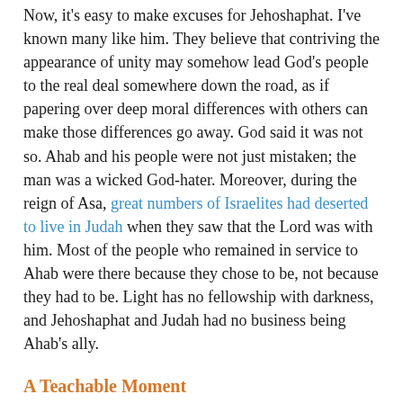Now, it's easy to make excuses for Jehoshaphat. I've known many like him. They believe that contriving the appearance of unity may somehow lead God's people to the real deal somewhere down the road, as if papering over deep moral differences with others can make those differences go away. God said it was not so. Ahab and his people were not just mistaken; the man was a wicked God-hater. Moreover, during the reign of Asa, great numbers of Israelites had deserted to live in Judah when they saw that the Lord was with him. Most of the people who remained in service to Ahab were there because they chose to be, not because they had to be. Light has no fellowship with darkness, and Jehoshaphat and Judah had no business being Ahab's ally.
A Teachable Moment
But Jehoshaphat was a teachable man. Unlike Micaiah, who had carried God's message to his father, the seer who rebuked Jehoshaphat did not go straight into the stocks. Instead, the king set about creating historic reforms in Judah. He appointed judges throughout the land and challenged them to do justice in the fear of the Lord, telling them the Lord was with them in giving judgment. He appointed a court of appeals in Jerusalem made up of Levites,